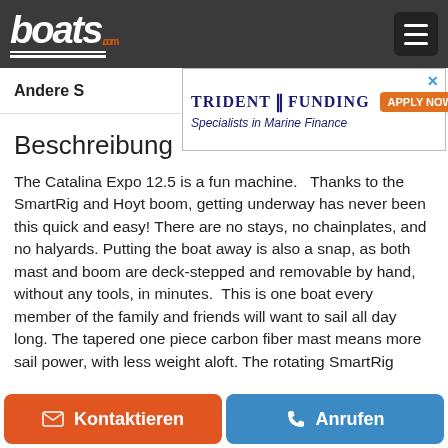boats.com
[Figure (screenshot): Trident Funding advertisement banner: 'TRIDENT FUNDING - Specialists in Marine Finance - APPLY NOW']
Andere S
Beschreibung
The Catalina Expo 12.5 is a fun machine.   Thanks to the SmartRig and Hoyt boom, getting underway has never been this quick and easy! There are no stays, no chainplates, and no halyards. Putting the boat away is also a snap, as both mast and boom are deck-stepped and removable by hand, without any tools, in minutes.  This is one boat every member of the family and friends will want to sail all day long. The tapered one piece carbon fiber mast means more sail power, with less weight aloft. The rotating SmartRig
Kontaktieren   Anrufen